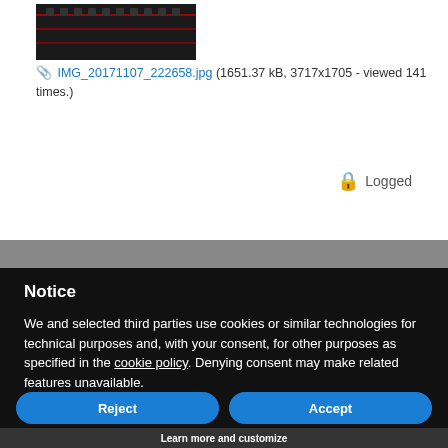[Figure (photo): Thumbnail of a dark image showing electronic equipment with red indicators, filename IMG_20171107_222658.jpg]
IMG_20171107_222658.jpg (1651.37 kB, 3717x1705 - viewed 141 times.)
Logged
Notice
We and selected third parties use cookies or similar technologies for technical purposes and, with your consent, for other purposes as specified in the cookie policy. Denying consent may make related features unavailable.
Reject
Accept
Learn more and customize